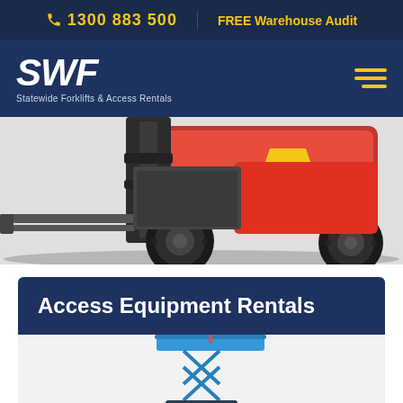1300 883 500 | FREE Warehouse Audit
[Figure (logo): SWF logo - Statewide Forklifts & Access Rentals white text on dark navy background with hamburger menu icon]
[Figure (photo): Close-up photo of a red and grey forklift showing the lower body, mast, forks and large black tires on a white/light grey background]
Access Equipment Rentals
[Figure (photo): Partial image of a blue scissor lift / elevated work platform against a white background, cropped at bottom of page]